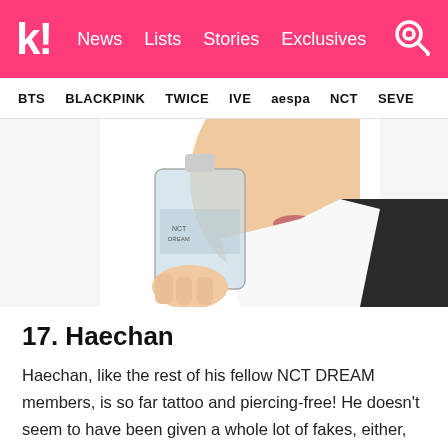k! News Lists Stories Exclusives
BTS BLACKPINK TWICE IVE aespa NCT SEVE
[Figure (photo): A person holding a glass perfume bottle near their face, wearing a white shirt and black jacket, against a white background.]
17. Haechan
Haechan, like the rest of his fellow NCT DREAM members, is so far tattoo and piercing-free! He doesn't seem to have been given a whole lot of fakes, either, though he did have a fake